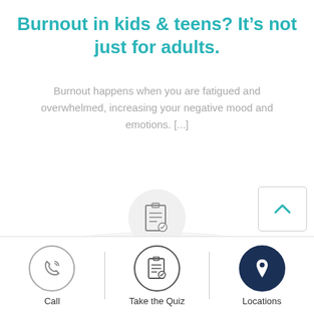Burnout in kids & teens? It’s not just for adults.
Burnout happens when you are fatigued and overwhelmed, increasing your negative mood and emotions. [...]
[Figure (illustration): Large circle with clipboard/quiz icon, labeled Take a Free Online Quiz]
[Figure (infographic): Bottom navigation bar with three items: Call (phone icon in circle), Take the Quiz (clipboard icon in circle), Locations (map pin icon in dark circle)]
[Figure (illustration): Back-to-top button with upward chevron arrow, positioned at right side]